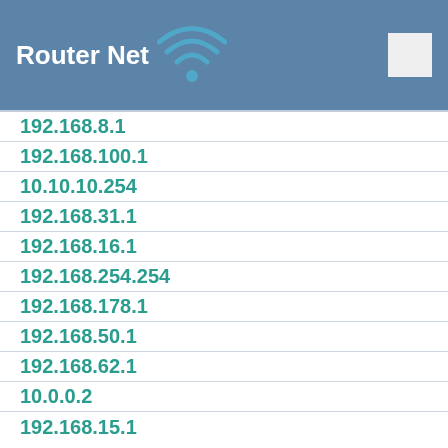Router Net
192.168.8.1
192.168.100.1
10.10.10.254
192.168.31.1
192.168.16.1
192.168.254.254
192.168.178.1
192.168.50.1
192.168.62.1
10.0.0.2
192.168.15.1